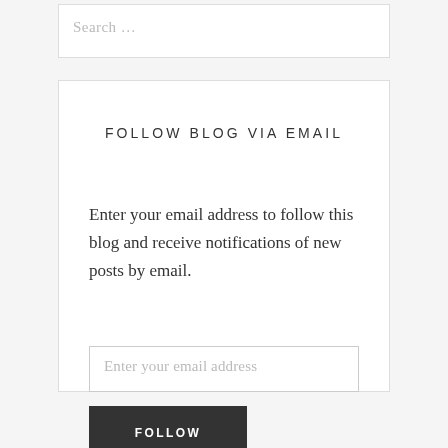Search …
FOLLOW BLOG VIA EMAIL
Enter your email address to follow this blog and receive notifications of new posts by email.
Enter your email address
FOLLOW